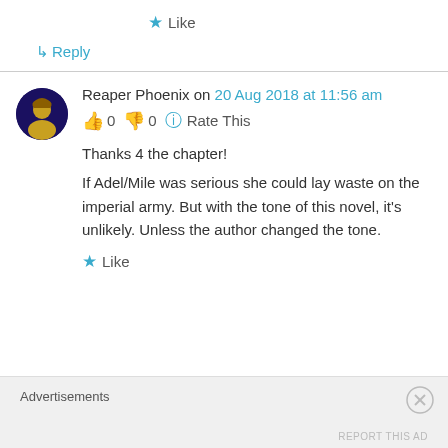★ Like
↳ Reply
Reaper Phoenix on 20 Aug 2018 at 11:56 am
👍 0 👎 0 ℹ Rate This
Thanks 4 the chapter!
If Adel/Mile was serious she could lay waste on the imperial army. But with the tone of this novel, it's unlikely. Unless the author changed the tone.
★ Like
Advertisements